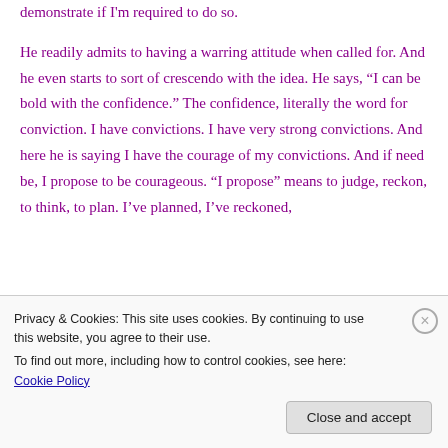demonstrate if I'm required to do so.

He readily admits to having a warring attitude when called for. And he even starts to sort of crescendo with the idea. He says, “I can be bold with the confidence.” The confidence, literally the word for conviction. I have convictions. I have very strong convictions. And here he is saying I have the courage of my convictions. And if need be, I propose to be courageous. “I propose” means to judge, reckon, to think, to plan. I’ve planned, I’ve reckoned,
Privacy & Cookies: This site uses cookies. By continuing to use this website, you agree to their use.
To find out more, including how to control cookies, see here: Cookie Policy
Close and accept